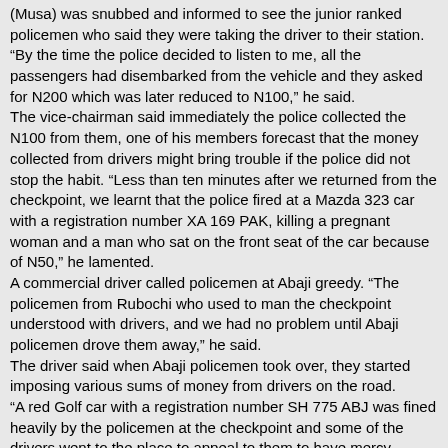(Musa) was snubbed and informed to see the junior ranked policemen who said they were taking the driver to their station. “By the time the police decided to listen to me, all the passengers had disembarked from the vehicle and they asked for N200 which was later reduced to N100,” he said. The vice-chairman said immediately the police collected the N100 from them, one of his members forecast that the money collected from drivers might bring trouble if the police did not stop the habit. “Less than ten minutes after we returned from the checkpoint, we learnt that the police fired at a Mazda 323 car with a registration number XA 169 PAK, killing a pregnant woman and a man who sat on the front seat of the car because of N50,” he lamented. A commercial driver called policemen at Abaji greedy. “The policemen from Rubochi who used to man the checkpoint understood with drivers, and we had no problem until Abaji policemen drove them away,” he said. The driver said when Abaji policemen took over, they started imposing various sums of money from drivers on the road. “A red Golf car with a registration number SH 775 ABJ was fined heavily by the policemen at the checkpoint and some of the drivers went to the place to appeal to them to have mercy because of the economical situation in the country,” he said. The driver said despite their appeal, the policemen at the checkpoint still collected lump sum of money from drivers. When City News visited the town at 3pm Saturday, the pregnant woman had been buried according to Muslim rites while the body of the other person had been deposited at Gwagwalada Specialist Hospital morgue by the police. Friends and family members of the